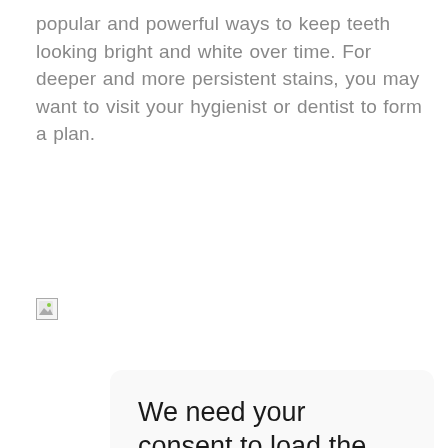popular and powerful ways to keep teeth looking bright and white over time. For deeper and more persistent stains, you may want to visit your hygienist or dentist to form a plan.
[Figure (other): Broken image placeholder icon]
We need your consent to load the Youtube service!
This content is not permitted to load due to trackers that are not disclosed to the visitor. The website owner needs to setup the site with their CMP to add this content to the list of technologies used.